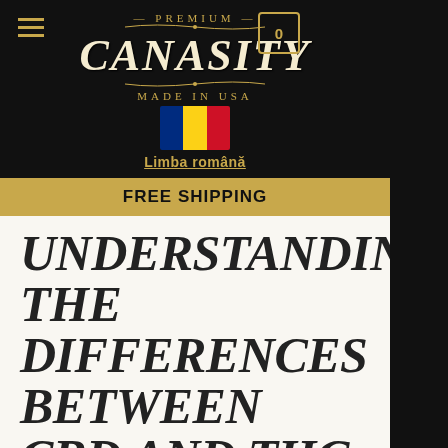Premium CANASITY Made in USA
[Figure (logo): Canasity premium brand logo with decorative ornaments on dark background]
[Figure (illustration): Romanian flag (blue, yellow, red vertical stripes)]
Limba română
FREE SHIPPING
UNDERSTANDING THE DIFFERENCES BETWEEN CBD AND THC
Understanding the effects of CBD is confusing when THC is sometimes mentioned too. Do they come from the same plant? Do they both produce a high? Here are the differences between